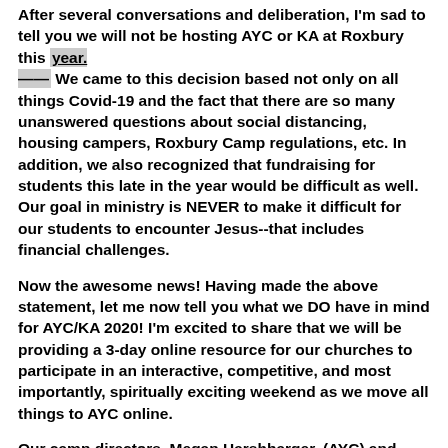After several conversations and deliberation, I'm sad to tell you we will not be hosting AYC or KA at Roxbury this year. We came to this decision based not only on all things Covid-19 and the fact that there are so many unanswered questions about social distancing, housing campers, Roxbury Camp regulations, etc. In addition, we also recognized that fundraising for students this late in the year would be difficult as well. Our goal in ministry is NEVER to make it difficult for our students to encounter Jesus--that includes financial challenges.
Now the awesome news! Having made the above statement, let me now tell you what we DO have in mind for AYC/KA 2020! I'm excited to share that we will be providing a 3-day online resource for our churches to participate in an interactive, competitive, and most importantly, spiritually exciting weekend as we move all things to AYC online.
Our camp directors, Megan Harshbarger, (AYC) and Tosha McCrary (KA) and their teams are already developing and planning on what this is going to look like for you and your teens and children this summer. AYC online (official event name not finalized) will be on July 23 – 25, 2020. Mark your